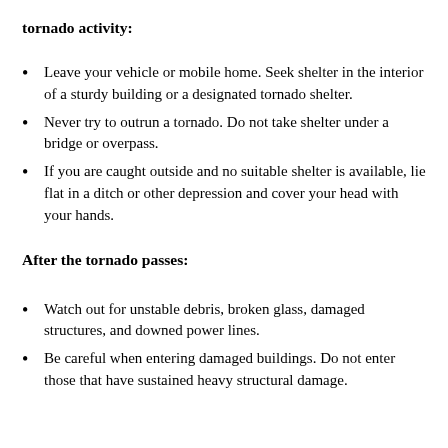tornado activity:
Leave your vehicle or mobile home. Seek shelter in the interior of a sturdy building or a designated tornado shelter.
Never try to outrun a tornado. Do not take shelter under a bridge or overpass.
If you are caught outside and no suitable shelter is available, lie flat in a ditch or other depression and cover your head with your hands.
After the tornado passes:
Watch out for unstable debris, broken glass, damaged structures, and downed power lines.
Be careful when entering damaged buildings. Do not enter those that have sustained heavy structural damage.